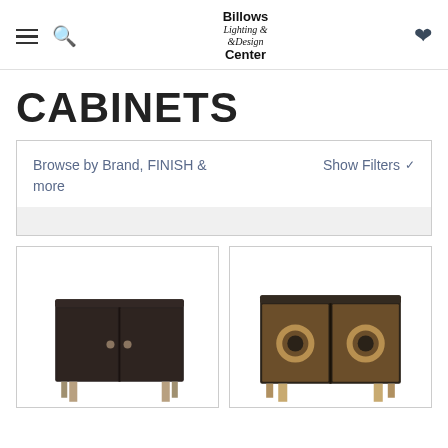Billows Lighting & Design Center — navigation header with hamburger menu, search icon, logo, and wishlist heart
CABINETS
Browse by Brand, FINISH & more    Show Filters ❯
[Figure (photo): Dark espresso/black two-door cabinet with small round knobs on tapered legs]
[Figure (photo): Dark bronze two-door cabinet with large circular ring pulls on tapered legs]